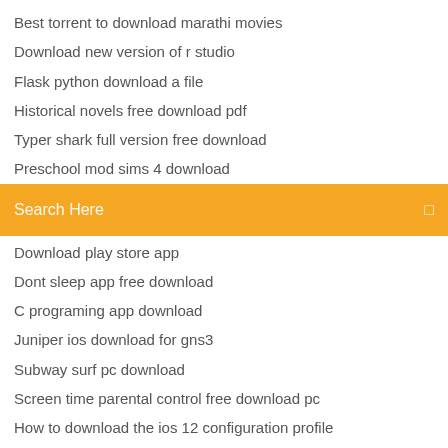Best torrent to download marathi movies
Download new version of r studio
Flask python download a file
Historical novels free download pdf
Typer shark full version free download
Preschool mod sims 4 download
[Figure (other): Orange search bar with text 'Search Here' and a microphone/search icon on the right]
Download play store app
Dont sleep app free download
C programing app download
Juniper ios download for gns3
Subway surf pc download
Screen time parental control free download pc
How to download the ios 12 configuration profile
Microsoft surface pro 3 infrared firmware driver download
Download pc games no torrents
Thames adverts 1990 31st january 1990 mp4 download
How to download ios to computer